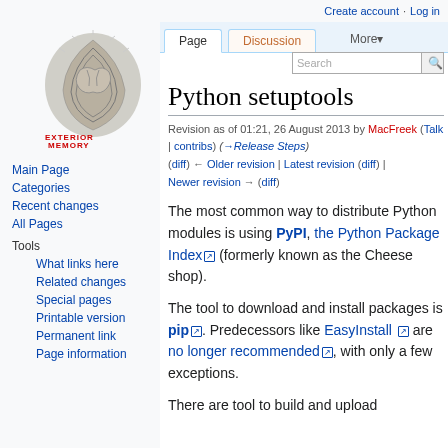Create account  Log in
[Figure (logo): Exterior Memory logo — brain/shell illustration with text EXTERIOR MEMORY, Notes by Freek Dijkstra]
Main Page
Categories
Recent changes
All Pages
Tools
What links here
Related changes
Special pages
Printable version
Permanent link
Page information
Python setuptools
Revision as of 01:21, 26 August 2013 by MacFreek (Talk | contribs) (→Release Steps) (diff) ← Older revision | Latest revision (diff) | Newer revision → (diff)
The most common way to distribute Python modules is using PyPI, the Python Package Index (formerly known as the Cheese shop).
The tool to download and install packages is pip. Predecessors like EasyInstall are no longer recommended, with only a few exceptions.
There are tool to build and upload